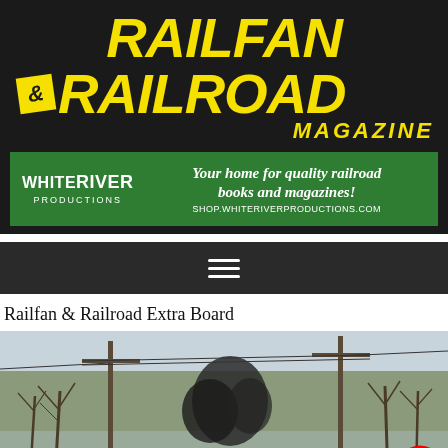[Figure (logo): Railfan & Railroad Magazine logo in yellow italic bold text on dark background]
[Figure (infographic): White River Productions banner - green background, white text: 'Your home for quality railroad books and magazines! shop.whiteriverproductions.com']
[Figure (screenshot): Navigation hamburger menu icon (three horizontal white lines) on dark background]
Railfan & Railroad Extra Board
[Figure (photo): Railroad crossing scene in winter/early spring with bare trees, utility poles, wires, and dark smoke or steam visible near the tracks. A railroad crossing sign is partially visible at bottom right.]